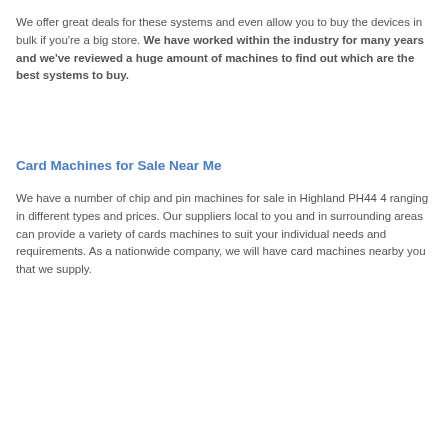We offer great deals for these systems and even allow you to buy the devices in bulk if you're a big store. We have worked within the industry for many years and we've reviewed a huge amount of machines to find out which are the best systems to buy.
Card Machines for Sale Near Me
We have a number of chip and pin machines for sale in Highland PH44 4 ranging in different types and prices. Our suppliers local to you and in surrounding areas can provide a variety of cards machines to suit your individual needs and requirements. As a nationwide company, we will have card machines nearby you that we supply.